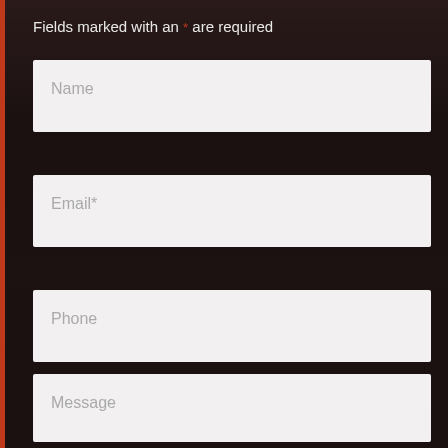Fields marked with an * are required
Name
Email*
Phone
Message